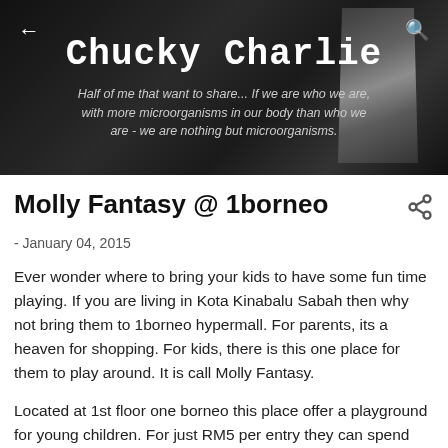[Figure (screenshot): Blog header banner with dark background showing the blog title 'Chucky Charlie' in bold monospace font, a back arrow on the left, a search icon on the right, and a subtitle tagline in italic text.]
Molly Fantasy @ 1borneo
- January 04, 2015
Ever wonder where to bring your kids to have some fun time playing. If you are living in Kota Kinabalu Sabah then why not bring them to 1borneo hypermall. For parents, its a heaven for shopping. For kids, there is this one place for them to play around. It is call Molly Fantasy.
Located at 1st floor one borneo this place offer a playground for young children. For just RM5 per entry they can spend around 15 minutes inside that playground. And if there is not